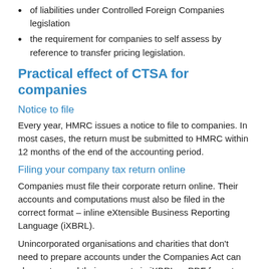of liabilities under Controlled Foreign Companies legislation
the requirement for companies to self assess by reference to transfer pricing legislation.
Practical effect of CTSA for companies
Notice to file
Every year, HMRC issues a notice to file to companies. In most cases, the return must be submitted to HMRC within 12 months of the end of the accounting period.
Filing your company tax return online
Companies must file their corporate return online. Their accounts and computations must also be filed in the correct format – inline eXtensible Business Reporting Language (iXBRL).
Unincorporated organisations and charities that don't need to prepare accounts under the Companies Act can choose to send their accounts in iXBRL or PDF format. However, they must submit the iXBRL f